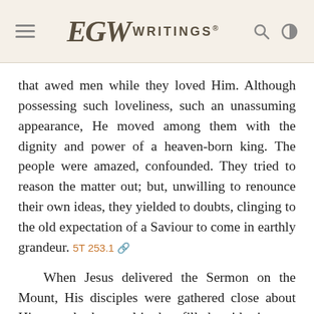EGW WRITINGS®
that awed men while they loved Him. Although possessing such loveliness, such an unassuming appearance, He moved among them with the dignity and power of a heaven-born king. The people were amazed, confounded. They tried to reason the matter out; but, unwilling to renounce their own ideas, they yielded to doubts, clinging to the old expectation of a Saviour to come in earthly grandeur. 5T 253.1
When Jesus delivered the Sermon on the Mount, His disciples were gathered close about Him, and the multitude, filled with intense curiosity, also pressed as near as possible. Something more than usual was expected. Eager faces and listening